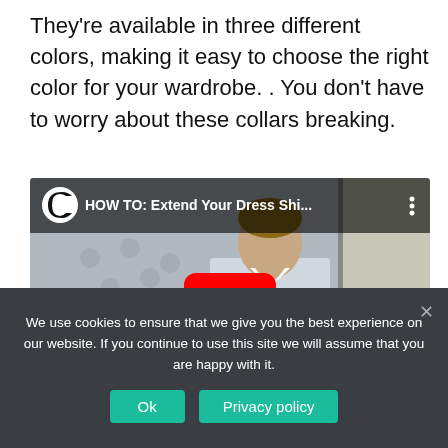They're available in three different colors, making it easy to choose the right color for your wardrobe. . You don't have to worry about these collars breaking.
[Figure (screenshot): Embedded YouTube video thumbnail showing a young man in a dress shirt and tie, with YouTube overlay bar showing title 'HOW TO: Extend Your Dress Shi...' and a red play button in the center.]
We use cookies to ensure that we give you the best experience on our website. If you continue to use this site we will assume that you are happy with it.